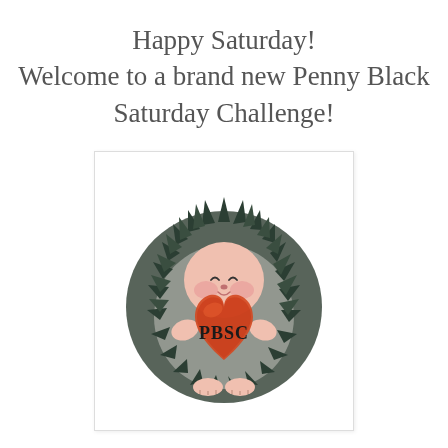Happy Saturday! Welcome to a brand new Penny Black Saturday Challenge!
[Figure (illustration): A cute illustrated hedgehog curled into a round shape, holding a large red/orange heart that reads 'PBSC'. The hedgehog has a pink face with rosy cheeks, small smile, and spiky dark teal/black quills forming a circle. It has small paws visible at the bottom. The illustration is in a watercolor style.]